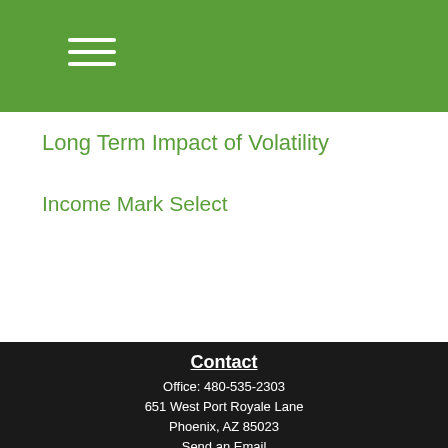Long Term Impact of Volatility
Income Mark Select
Contact
Office: 480-535-2303
651 West Port Royale Lane
Phoenix, AZ 85023
Send an Email
[Figure (logo): Facebook logo button in blue square]
Quick Links